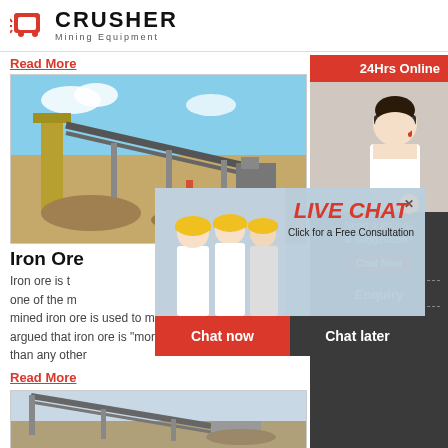CRUSHER Mining Equipment
Read More
[Figure (photo): Mining facility with conveyor belts and equipment under blue sky]
Iron Ore
Iron ore is the world's most commonly used metal– one of the most mined iron ore is used to make steel. Indeed, it is argued that iron ore is "more integral to the global economy than any other
Read More
[Figure (photo): Mining equipment and conveyor structure]
[Figure (photo): Live Chat popup with workers in hard hats. Text: LIVE CHAT, Click for a Free Consultation, Chat now, Chat later]
[Figure (photo): Sidebar: 24Hrs Online banner with customer service representative wearing headset. Need questions & suggestion? Chat Now button. Enquiry section. limingjlmofen@sina.com]